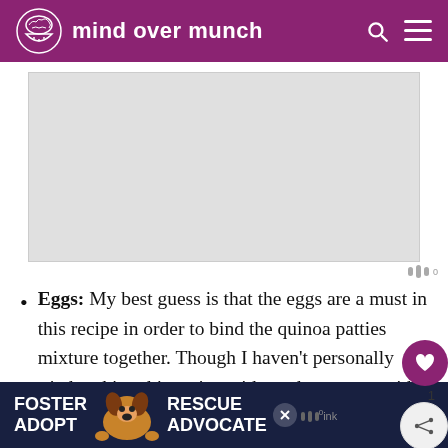mind over munch
[Figure (other): Advertisement placeholder box (gray rectangle)]
Eggs: My best guess is that the eggs are a must in this recipe in order to bind the quinoa patties mixture together. Though I haven't personally tried making this recipe without the eggs or with a substitute, feel free to experiment.
[Figure (photo): Bottom banner advertisement showing a beagle dog with text FOSTER ADOPT RESCUE ADVOCATE in white on dark background]